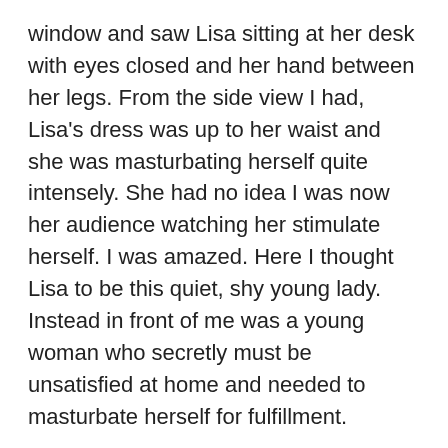window and saw Lisa sitting at her desk with eyes closed and her hand between her legs. From the side view I had, Lisa's dress was up to her waist and she was masturbating herself quite intensely. She had no idea I was now her audience watching her stimulate herself. I was amazed. Here I thought Lisa to be this quiet, shy young lady. Instead in front of me was a young woman who secretly must be unsatisfied at home and needed to masturbate herself for fulfillment.
I figured if ever there was an opportunity to get into this gorgeous creature's pants, so to speak, this was it. I opened the door quickly and locked it behind me. The expression of horror filled Lisa's face. She was caught in the act of masturbating herself. Her face literally turned white as the blood drained from her. As I walked over to her she was speechless. She couldn't find any words to say. She looked down in